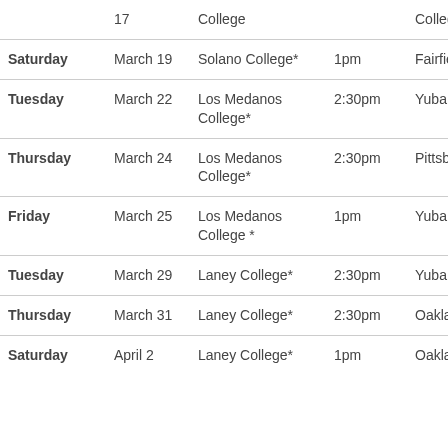| Day | Date | Opponent | Time | Location |
| --- | --- | --- | --- | --- |
|  | 17 | College |  | College |
| Saturday | March 19 | Solano College* | 1pm | Fairfield, CA |
| Tuesday | March 22 | Los Medanos College* | 2:30pm | Yuba College |
| Thursday | March 24 | Los Medanos College* | 2:30pm | Pittsburg, CA |
| Friday | March 25 | Los Medanos College * | 1pm | Yuba College |
| Tuesday | March 29 | Laney College* | 2:30pm | Yuba College |
| Thursday | March 31 | Laney College* | 2:30pm | Oakland, CA |
| Saturday | April 2 | Laney College* | 1pm | Oakland, CA |